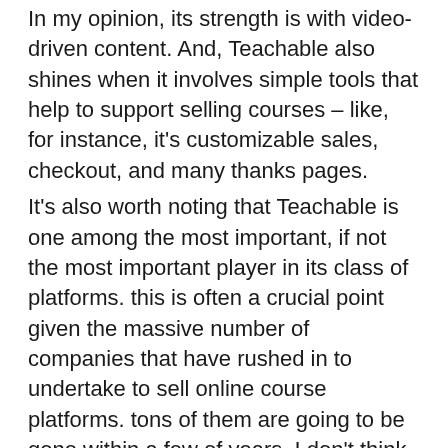In my opinion, its strength is with video-driven content. And, Teachable also shines when it involves simple tools that help to support selling courses – like, for instance, it's customizable sales, checkout, and many thanks pages.
It's also worth noting that Teachable is one among the most important, if not the most important player in its class of platforms. this is often a crucial point given the massive number of companies that have rushed in to undertake to sell online course platforms. tons of them are going to be gone within a few of years. I don't think Teachable will.
As far as pricing goes, Teachable still offers a free plan at the time i'm posting this review. Under this plan there are not any limits on courses or